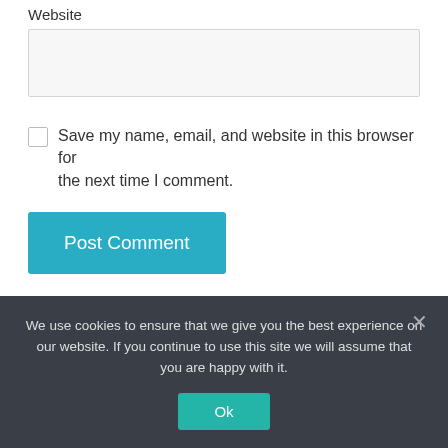Website
[Figure (screenshot): A text input field for website URL, light grey background]
[Figure (screenshot): Checkbox (unchecked)]
Save my name, email, and website in this browser for the next time I comment.
[Figure (screenshot): Blue 'Post Comment' button]
Recent Comments
We use cookies to ensure that we give you the best experience on our website. If you continue to use this site we will assume that you are happy with it.
[Figure (screenshot): Teal 'Ok' button in cookie consent dialog]